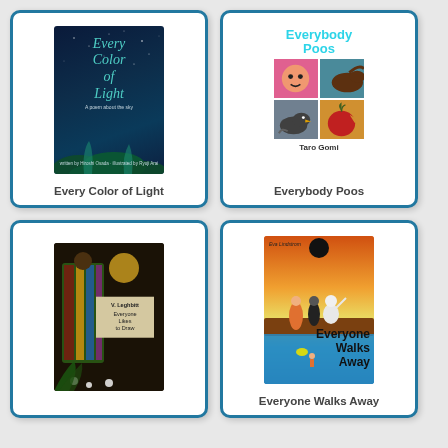[Figure (illustration): Book cover: Every Color of Light - dark blue night sky with cyan script title text and foliage]
Every Color of Light
[Figure (illustration): Book cover: Everybody Poos by Taro Gomi - white background with cyan title and grid of four illustrated panels]
Everybody Poos
[Figure (illustration): Book cover: Everyone Likes to Draw by V. Leghbitt - dark background with folk art figure and beige label box]
[Figure (illustration): Book cover: Everyone Walks Away by Eva Lindstrom - colorful illustrated cover with figures and bold title text]